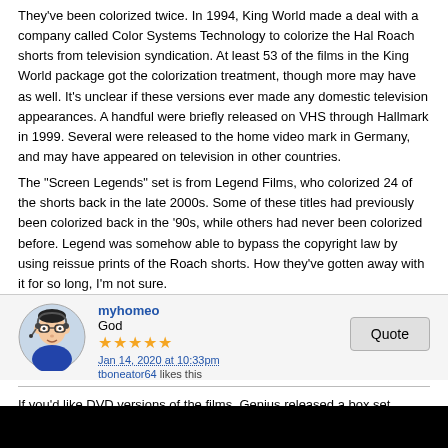They've been colorized twice. In 1994, King World made a deal with a company called Color Systems Technology to colorize the Hal Roach shorts from television syndication. At least 53 of the films in the King World package got the colorization treatment, though more may have as well. It's unclear if these versions ever made any domestic television appearances. A handful were briefly released on VHS through Hallmark in 1999. Several were released to the home video mark in Germany, and may have appeared on television in other countries.
The "Screen Legends" set is from Legend Films, who colorized 24 of the shorts back in the late 2000s. Some of these titles had previously been colorized back in the '90s, while others had never been colorized before. Legend was somehow able to bypass the copyright law by using reissue prints of the Roach shorts. How they've gotten away with it for so long, I'm not sure.
myhomeo
God
★★★★★
Jan 14, 2020 at 10:33pm
tboneator64 likes this
If you'd like DVD versions of the films, Genius released a box set collecting all the sound Hal Roach-era shorts. It's expensive but it's all the best stuff in one place. You might be able to find it in some stores.